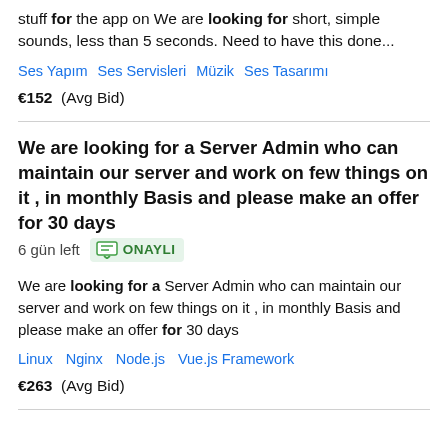stuff for the app on We are looking for short, simple sounds, less than 5 seconds. Need to have this done...
Ses Yapım   Ses Servisleri   Müzik   Ses Tasarımı
€152  (Avg Bid)
We are looking for a Server Admin who can maintain our server and work on few things on it , in monthly Basis and please make an offer for 30 days  6 gün left  ONAYLI
We are looking for a Server Admin who can maintain our server and work on few things on it , in monthly Basis and please make an offer for 30 days
Linux   Nginx   Node.js   Vue.js Framework
€263  (Avg Bid)